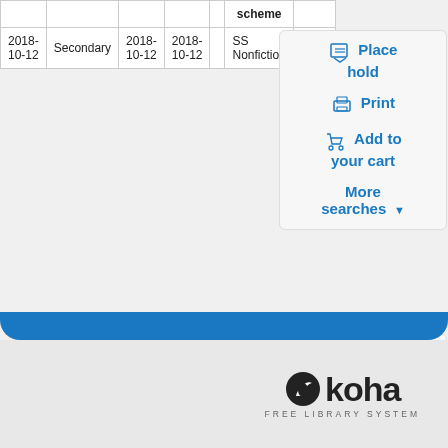|  |  |  |  |  | scheme |  |
| --- | --- | --- | --- | --- | --- | --- |
| 2018-10-12 | Secondary | 2018-10-12 | 2018-10-12 |  | SS Nonfiction | Book |
Place hold
Print
Add to your cart
More searches
Save record:
BIBTEX
Go
[Figure (logo): Koha Free Library System logo with leaf icon]